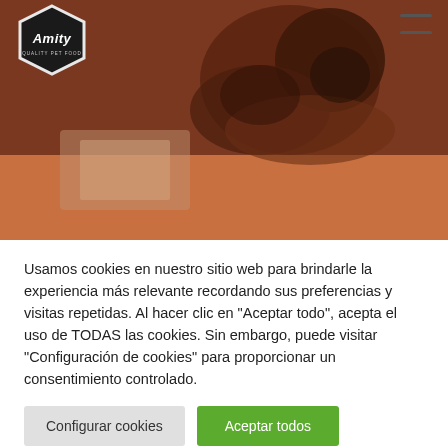[Figure (logo): Amity brand logo in white text on dark hexagon shape]
[Figure (photo): Dark brown/amber toned photo of a dog close-up with orange/brown background gradient below]
Usamos cookies en nuestro sitio web para brindarle la experiencia más relevante recordando sus preferencias y visitas repetidas. Al hacer clic en "Aceptar todo", acepta el uso de TODAS las cookies. Sin embargo, puede visitar "Configuración de cookies" para proporcionar un consentimiento controlado.
Configurar cookies
Aceptar todos